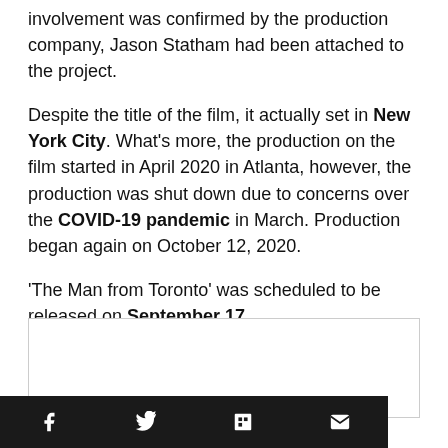involvement was confirmed by the production company, Jason Statham had been attached to the project.
Despite the title of the film, it actually set in New York City. What's more, the production on the film started in April 2020 in Atlanta, however, the production was shut down due to concerns over the COVID-19 pandemic in March. Production began again on October 12, 2020.
'The Man from Toronto' was scheduled to be released on September 17.
[Figure (other): Advertisement or embedded content box]